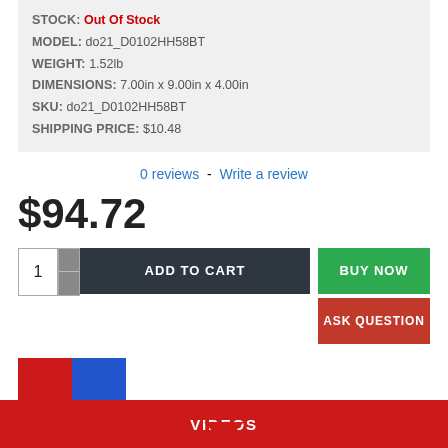STOCK: Out Of Stock
MODEL: do21_D0102HH58BT
WEIGHT: 1.52lb
DIMENSIONS: 7.00in x 9.00in x 4.00in
SKU: do21_D0102HH58BT
SHIPPING PRICE: $10.48
0 reviews  -  Write a review
$94.72
ADD TO CART
BUY NOW
ASK QUESTION
VIDEOS